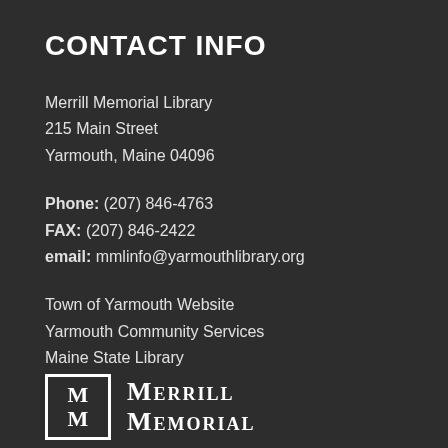CONTACT INFO
Merrill Memorial Library
215 Main Street
Yarmouth, Maine 04096
Phone: (207) 846-4763
FAX: (207) 846-2422
email: mmlinfo@yarmouthlibrary.org
Town of Yarmouth Website
Yarmouth Community Services
Maine State Library
[Figure (logo): Merrill Memorial Library logo with stylized MM monogram in a bordered box and MERRILL MEMORIAL text]